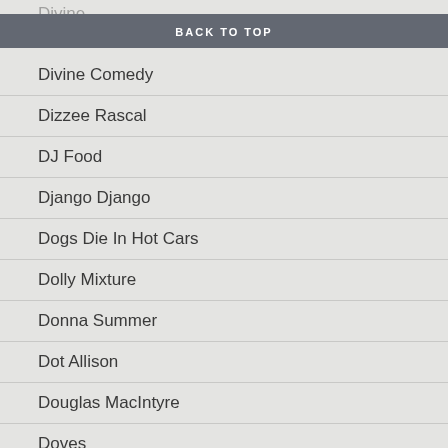BACK TO TOP
Divine Comedy
Dizzee Rascal
DJ Food
Django Django
Dogs Die In Hot Cars
Dolly Mixture
Donna Summer
Dot Allison
Douglas MacIntyre
Doves
Down The Tiny Steps
Dr. Dre